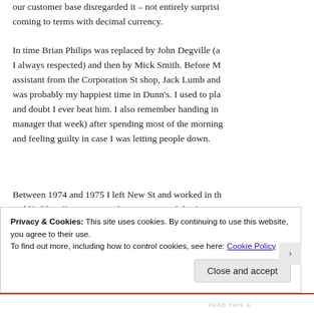our customer base disregarded it – not entirely surprisi… coming to terms with decimal currency.
In time Brian Philips was replaced by John Degville (a… I always respected) and then by Mick Smith. Before M… assistant from the Corporation St shop, Jack Lumb and… was probably my happiest time in Dunn's. I used to pla… and doubt I ever beat him. I also remember handing in… manager that week) after spending most of the morning… and feeling guilty in case I was letting people down.
Between 1974 and 1975 I left New St and worked in th… Coldfield. Jeff Garner was the manager and the first tin…
Privacy & Cookies: This site uses cookies. By continuing to use this website, you agree to their use.
To find out more, including how to control cookies, see here: Cookie Policy